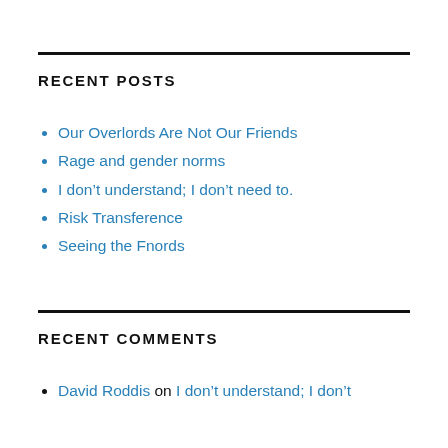RECENT POSTS
Our Overlords Are Not Our Friends
Rage and gender norms
I don’t understand; I don’t need to.
Risk Transference
Seeing the Fnords
RECENT COMMENTS
David Roddis on I don’t understand; I don’t